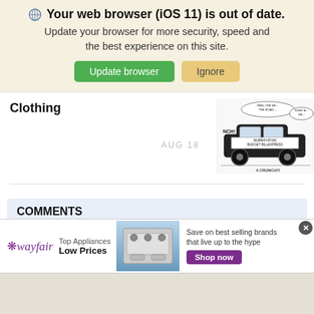Your web browser (iOS 11) is out of date. Update your browser for more security, speed and the best experience on this site. Update browser | Ignore
Clothing
AUG 18
[Figure (illustration): A cartoon/editorial illustration showing a car labeled 'MURRAY-RYAN BUDGET BILLEPRESS' with speech bubbles saying 'FEEL THE BE... THE ROAD....' and 'RIGHT A... SIR...' with sound effect 'NCH!' and 'CRUNCH!!!']
COMMENTS
You must become a subscriber or login to view or post
[Figure (infographic): Wayfair advertisement banner: logo with star, 'Top Appliances Low Prices', image of appliance, 'Save on best selling brands that live up to the hype', 'Shop now' button]